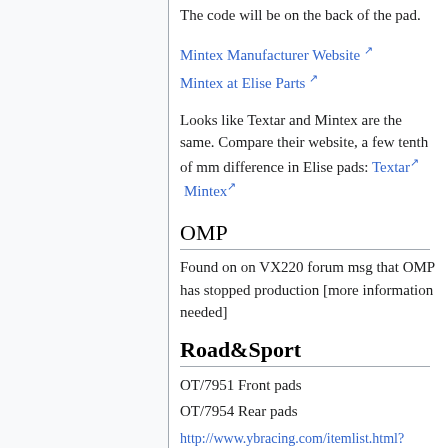The code will be on the back of the pad.
Mintex Manufacturer Website
Mintex at Elise Parts
Looks like Textar and Mintex are the same. Compare their website, a few tenth of mm difference in Elise pads: Textar Mintex
OMP
Found on on VX220 forum msg that OMP has stopped production [more information needed]
Road&Sport
OT/7951 Front pads
OT/7954 Rear pads
http://www.ybracing.com/itemlist.html?searchquery=lotus+elise